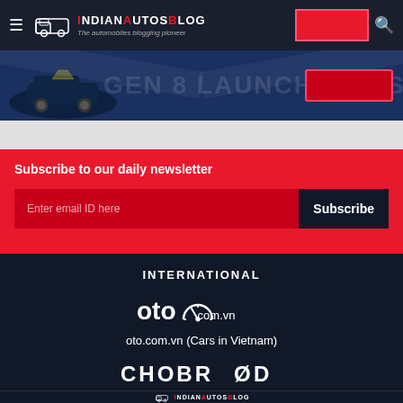IndianAutosBlog — The automobiles blogging pioneer
[Figure (photo): Car banner advertisement with dark blue background, car silhouette on left, decorative text overlay, red button on right]
Subscribe to our daily newsletter
Enter email ID here
Subscribe
INTERNATIONAL
[Figure (logo): oto.com.vn logo with speedometer icon]
oto.com.vn (Cars in Vietnam)
[Figure (logo): CHOBROD logo in bold white text]
Chobrod.com (Cars in Thailand)
IndianAutosBlog — The automobiles blogging pioneer